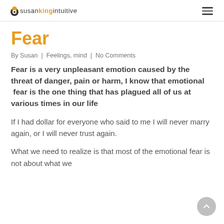susankingintuitive
Fear
By Susan | Feelings, mind | No Comments
Fear is a very unpleasant emotion caused by the threat of danger, pain or harm, I know that emotional  fear is the one thing that has plagued all of us at various times in our life
If I had dollar for everyone who said to me I will never marry again, or I will never trust again.
What we need to realize is that most of the emotional fear is not about what we